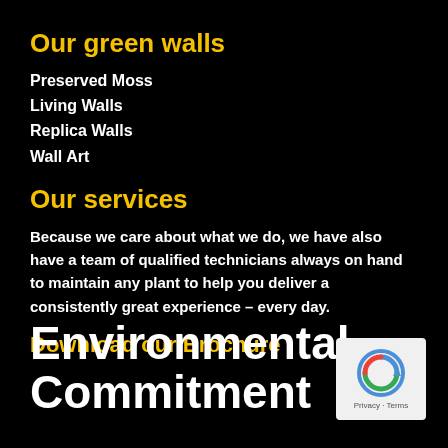Our green walls
Preserved Moss
Living Walls
Replica Walls
Wall Art
Our services
Because we care about what we do, we have also have a team of qualified technicians always on hand to maintain any plant to help you deliver a consistently great experience – every day.
Download our Brochure
Environmental Commitment
[Figure (logo): Google reCAPTCHA logo with Privacy and Terms text below]